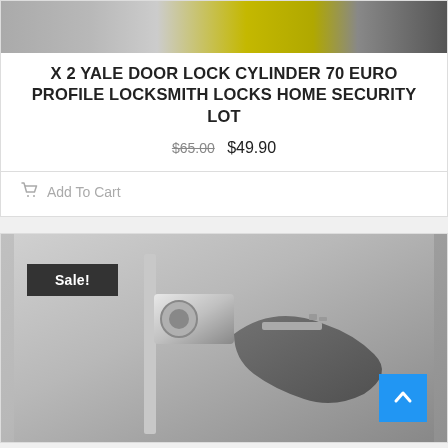[Figure (photo): Top portion of a product listing image showing locks and yellow packaging]
X 2 YALE DOOR LOCK CYLINDER 70 EURO PROFILE LOCKSMITH LOCKS HOME SECURITY LOT
$65.00 $49.90
Add To Cart
[Figure (photo): Photo of a door lock cylinder being inserted, with a Sale! badge overlay and a blue scroll-to-top button]